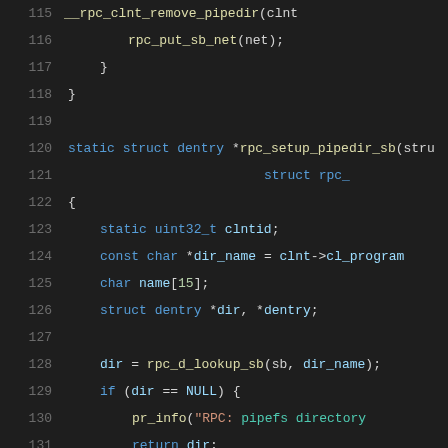[Figure (screenshot): Source code listing in a dark-themed code editor showing C code lines 115-136, including rpc_setup_pipedir_sb function definition with local variables and control flow.]